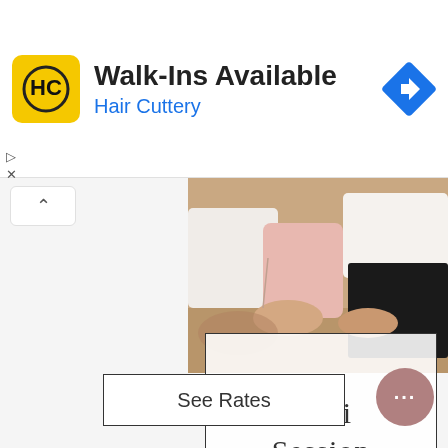[Figure (screenshot): Hair Cuttery advertisement banner with yellow logo showing HC letters, title 'Walk-Ins Available', subtitle 'Hair Cuttery' in blue, and a blue diamond navigation icon on the right]
[Figure (photo): Family photo showing adults and children sitting together, wearing white and pink clothing]
Mini Session
See Rates